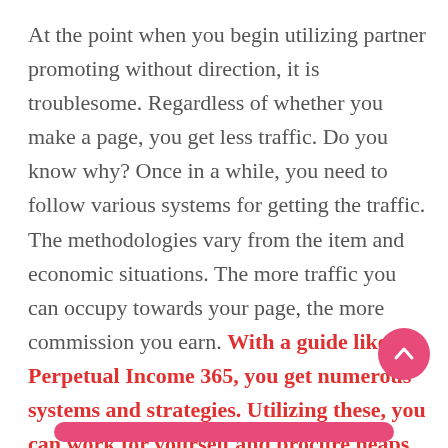At the point when you begin utilizing partner promoting without direction, it is troublesome. Regardless of whether you make a page, you get less traffic. Do you know why? Once in a while, you need to follow various systems for getting the traffic. The methodologies vary from the item and economic situations. The more traffic you can occupy towards your page, the more commission you earn. With a guide like Perpetual Income 365, you get numerous systems and strategies. Utilizing these, you can work for yourself and procure heaps of commission from various merchants.